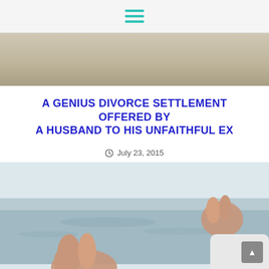hamburger menu icon
[Figure (photo): Top partial image showing sandy or textured surface, cropped at top]
A GENIUS DIVORCE SETTLEMENT OFFERED BY A HUSBAND TO HIS UNFAITHFUL EX
July 23, 2015
[Figure (photo): Person meditating by the sea, hands in mudra position, ocean water visible in background]